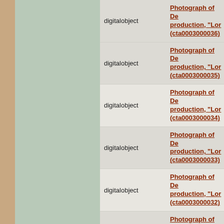digitalobject — Photograph of De… production, "Lor… (cta0003000036)
digitalobject — Photograph of De… production, "Lor… (cta0003000035)
digitalobject — Photograph of De… production, "Lor… (cta0003000034)
digitalobject — Photograph of De… production, "Lor… (cta0003000033)
digitalobject — Photograph of De… production, "Lor… (cta0003000032)
digitalobject — Photograph of De… production, "Lor… (cta0003000030)
digitalobject — Photograph of De… production, "Lor… (cta0003000029)